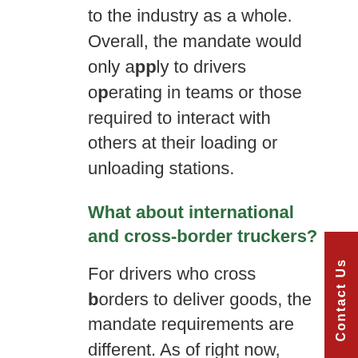to the industry as a whole. Overall, the mandate would only apply to drivers operating in teams or those required to interact with others at their loading or unloading stations.
What about international and cross-border truckers?
For drivers who cross borders to deliver goods, the mandate requirements are different. As of right now, both the U.S. and Canadian governments are requiring non-citizens to be fully vaccinated, regardless of their reasons for entry. And come January of 2022, the Department of Homeland Security will require all foreign travelers entering the country, regardless of...